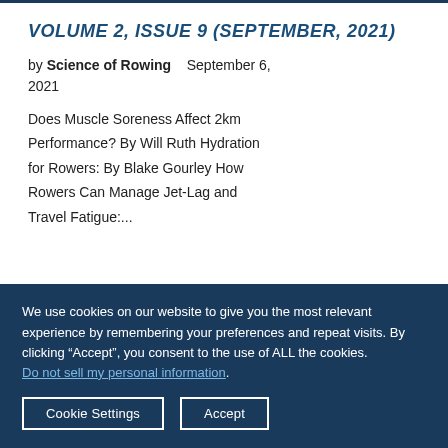VOLUME 2, ISSUE 9 (SEPTEMBER, 2021)
by Science of Rowing    September 6, 2021
Does Muscle Soreness Affect 2km Performance? By Will Ruth Hydration for Rowers: By Blake Gourley How Rowers Can Manage Jet-Lag and Travel Fatigue:...
We use cookies on our website to give you the most relevant experience by remembering your preferences and repeat visits. By clicking “Accept”, you consent to the use of ALL the cookies.
Do not sell my personal information.